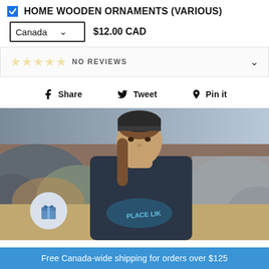HOME WOODEN ORNAMENTS (VARIOUS)
Canada  $12.00 CAD
NO REVIEWS
Share  Tweet  Pin it
[Figure (photo): Man with long hair wearing a dark beanie hat and dark blue t-shirt with 'NO PLACE LIKE' text, sitting against rocky beach background with ocean]
Free Canada-wide shipping for orders over $125